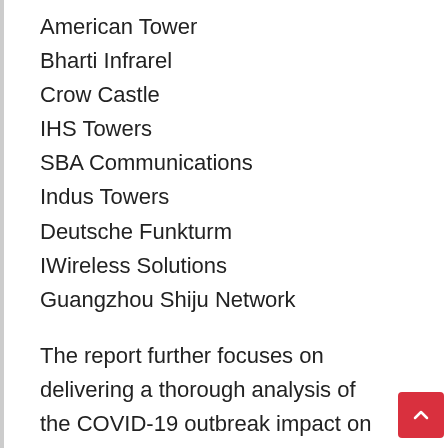American Tower
Bharti Infrarel
Crow Castle
IHS Towers
SBA Communications
Indus Towers
Deutsche Funkturm
IWireless Solutions
Guangzhou Shiju Network
The report further focuses on delivering a thorough analysis of the COVID-19 outbreak impact on the DAS and Small Cell Deploy Service market comprising of the specific challenges emerged since, threats, along with the adverse effects. It includes analysis of the disrupted supply chain, sales and marketing as